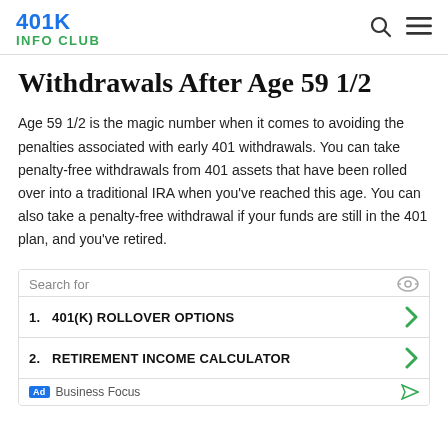401K INFO CLUB
Withdrawals After Age 59 1/2
Age 59 1/2 is the magic number when it comes to avoiding the penalties associated with early 401 withdrawals. You can take penalty-free withdrawals from 401 assets that have been rolled over into a traditional IRA when you’ve reached this age. You can also take a penalty-free withdrawal if your funds are still in the 401 plan, and you’ve retired.
| # | Item | Action |
| --- | --- | --- |
| 1. | 401(K) ROLLOVER OPTIONS | > |
| 2. | RETIREMENT INCOME CALCULATOR | > |
Ad | Business Focus